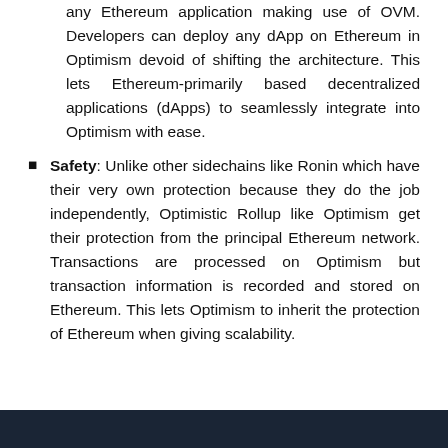any Ethereum application making use of OVM. Developers can deploy any dApp on Ethereum in Optimism devoid of shifting the architecture. This lets Ethereum-primarily based decentralized applications (dApps) to seamlessly integrate into Optimism with ease.
Safety: Unlike other sidechains like Ronin which have their very own protection because they do the job independently, Optimistic Rollup like Optimism get their protection from the principal Ethereum network. Transactions are processed on Optimism but transaction information is recorded and stored on Ethereum. This lets Optimism to inherit the protection of Ethereum when giving scalability.